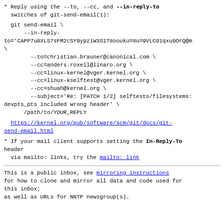* Reply using the --to, --cc, and --in-reply-to switches of git-send-email(1):
git send-email \
      --in-reply-to=\'CAPP7u0XLS7sFM2cSY9ypziW3S1T8oouku=8u=9VLC01qxu0OrQ@...\
  \
        --to=christian.brauner@canonical.com \
        --cc=anders.roxell@linaro.org \
        --cc=linux-kernel@vger.kernel.org \
        --cc=linux-kselftest@vger.kernel.org \
        --cc=shuah@kernel.org \
        --subject=\'Re: [PATCH 1/2] selftests/filesystems: devpts_pts included wrong header\' \
      /path/to/YOUR_REPLY
https://kernel.org/pub/software/scm/git/docs/git-send-email.html
* If your mail client supports setting the In-Reply-To header via mailto: links, try the mailto: link
This is a public inbox, see mirroring instructions for how to clone and mirror all data and code used for this inbox;
as well as URLs for NNTP newsgroup(s).